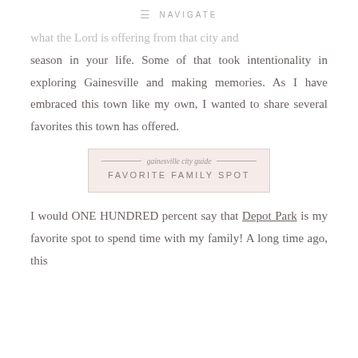≡  NAVIGATE
what the Lord is offering from that city and season in your life. Some of that took intentionality in exploring Gainesville and making memories. As I have embraced this town like my own, I wanted to share several favorites this town has offered.
[Figure (other): Badge graphic with script text 'gainesville city guide' and bold uppercase text 'FAVORITE FAMILY SPOT' on a light pink/beige background with a border]
I would ONE HUNDRED percent say that Depot Park is my favorite spot to spend time with my family! A long time ago, this